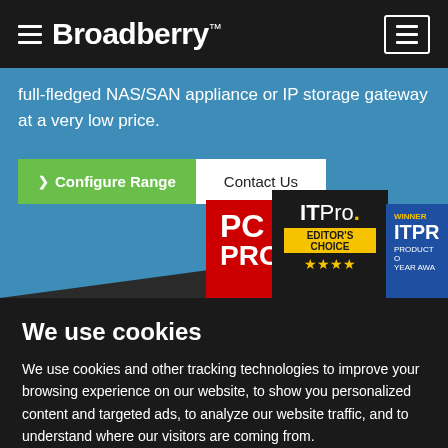Broadberry
full-fledged NAS/SAN appliance or IP storage gateway at a very low price.
Configure Range   Contact Us
[Figure (logo): PC PRO magazine logo badge (red background, white text)]
[Figure (logo): IT Pro Editor's Choice badge (dark background with yellow stars)]
[Figure (logo): ITPro Product of the Year Award badge (blue background, partial)]
We use cookies
We use cookies and other tracking technologies to improve your browsing experience on our website, to show you personalized content and targeted ads, to analyze our website traffic, and to understand where our visitors are coming from.